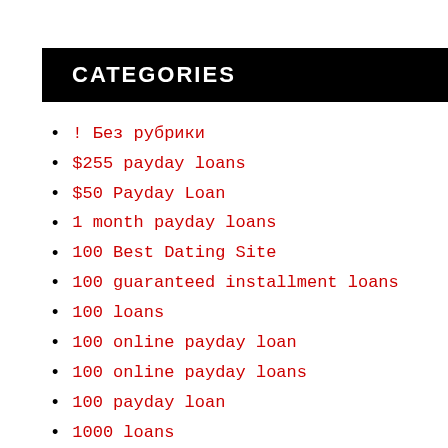CATEGORIES
! Без рубрики
$255 payday loans
$50 Payday Loan
1 month payday loans
100 Best Dating Site
100 guaranteed installment loans
100 loans
100 online payday loan
100 online payday loans
100 payday loan
1000 loans
1000 payday loans
1000 payday loans online
12 cash central
12 Month Installment Loans
1500 pay day loans
1stclassdating dating-sites-online-free
2 payday loans at once
200$ payday loans